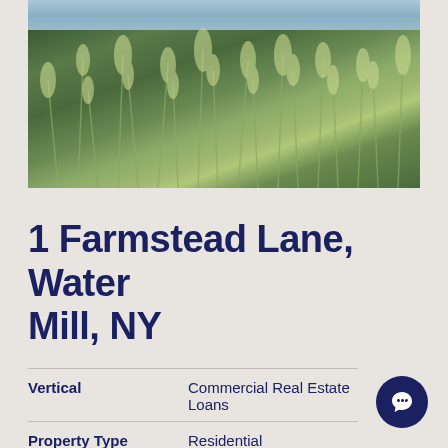[Figure (photo): Outdoor photo showing lush ornamental grasses and wild meadow plantings in front of a modern building with a reflective pool or water feature visible at the top edge.]
1 Farmstead Lane, Water Mill, NY
| Field | Value |
| --- | --- |
| Vertical | Commercial Real Estate Loans |
| Property Type | Residential |